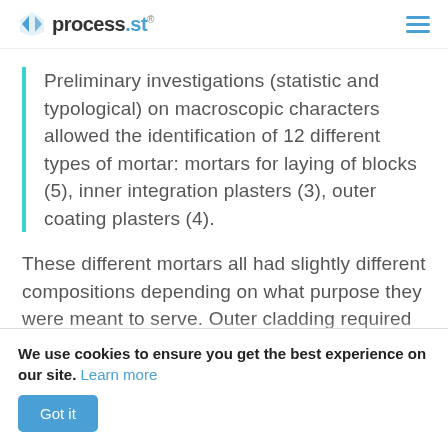process.st
Preliminary investigations (statistic and typological) on macroscopic characters allowed the identification of 12 different types of mortar: mortars for laying of blocks (5), inner integration plasters (3), outer coating plasters (4).
These different mortars all had slightly different compositions depending on what purpose they were meant to serve. Outer cladding required different strengths to mortars used to bind
We use cookies to ensure you get the best experience on our site. Learn more